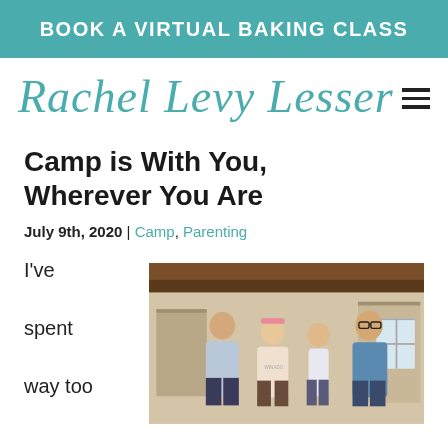BOOK A VIRTUAL BAKING CLASS
Rachel Levy Lesser
Camp is With You, Wherever You Are
July 9th, 2020 | Camp, Parenting
I've spent way too
[Figure (photo): A family photo showing four people (two teenagers, a woman, and a man with glasses) standing together in front of a building, smiling.]